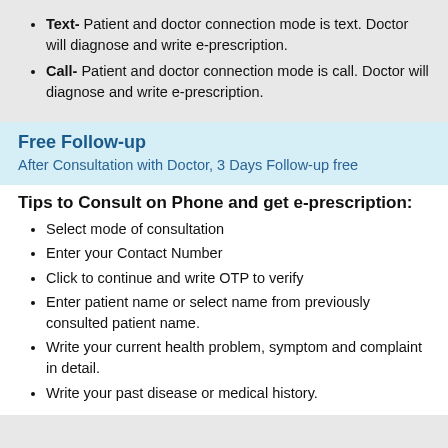Text- Patient and doctor connection mode is text. Doctor will diagnose and write e-prescription.
Call- Patient and doctor connection mode is call. Doctor will diagnose and write e-prescription.
Free Follow-up
After Consultation with Doctor, 3 Days Follow-up free
Tips to Consult on Phone and get e-prescription:
Select mode of consultation
Enter your Contact Number
Click to continue and write OTP to verify
Enter patient name or select name from previously consulted patient name.
Write your current health problem, symptom and complaint in detail.
Write your past disease or medical history.